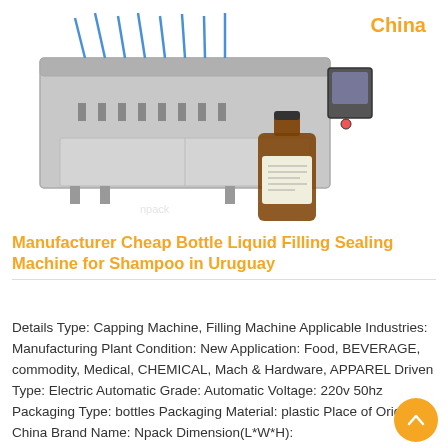[Figure (photo): Industrial liquid filling and sealing machine (stainless steel, multiple nozzles) with an amber glass bottle containing liquid product placed in front of it.]
Manufacturer Cheap Bottle Liquid Filling Sealing Machine for Shampoo in Uruguay
Details Type: Capping Machine, Filling Machine Applicable Industries: Manufacturing Plant Condition: New Application: Food, BEVERAGE, commodity, Medical, CHEMICAL, Mach & Hardware, APPAREL Driven Type: Electric Automatic Grade: Automatic Voltage: 220v 50hz Packaging Type: bottles Packaging Material: plastic Place of Origin: China Brand Name: Npack Dimension(L*W*H):